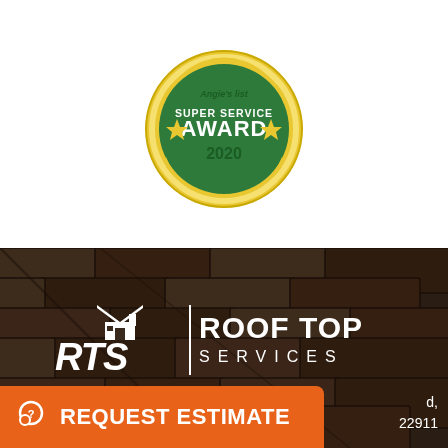[Figure (logo): Angie's List Super Service Award 2020 gold medal badge with green center reading SUPER SERVICE AWARD 2020]
[Figure (photo): Close-up photo of dark brown asphalt roof shingles with RTS Roof Top Services white logo overlaid in the center]
[Figure (logo): RTS Roof Top Services white logo with house icon and vertical divider bar]
REQUEST ESTIMATE
d, 22911